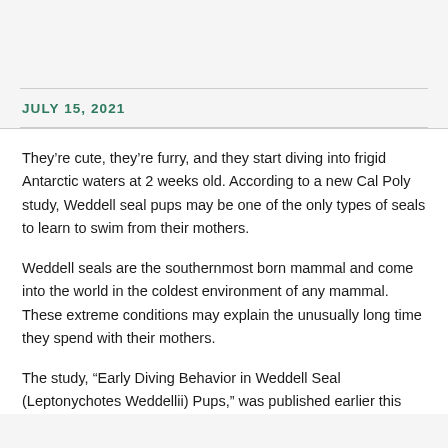JULY 15, 2021
They’re cute, they’re furry, and they start diving into frigid Antarctic waters at 2 weeks old. According to a new Cal Poly study, Weddell seal pups may be one of the only types of seals to learn to swim from their mothers.
Weddell seals are the southernmost born mammal and come into the world in the coldest environment of any mammal. These extreme conditions may explain the unusually long time they spend with their mothers.
The study, “Early Diving Behavior in Weddell Seal (Leptonychotes Weddellii) Pups,” was published earlier this